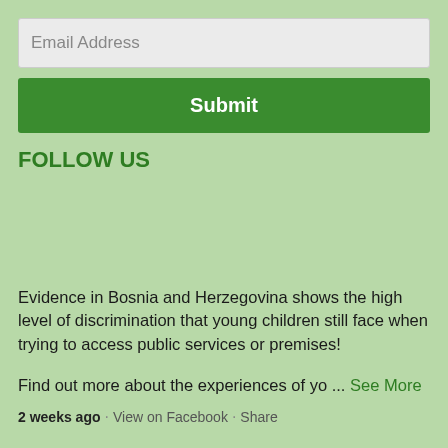Email Address
Submit
FOLLOW US
Evidence in Bosnia and Herzegovina shows the high level of discrimination that young children still face when trying to access public services or premises!
Find out more about the experiences of yo ... See More
2 weeks ago · View on Facebook · Share